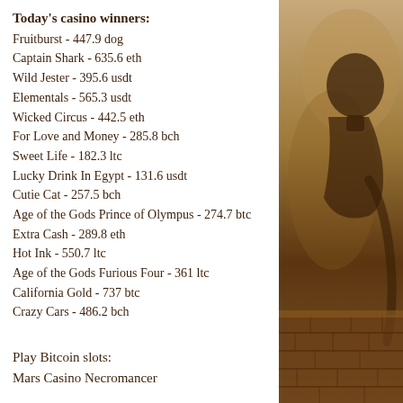Today's casino winners:
Fruitburst - 447.9 dog
Captain Shark - 635.6 eth
Wild Jester - 395.6 usdt
Elementals - 565.3 usdt
Wicked Circus - 442.5 eth
For Love and Money - 285.8 bch
Sweet Life - 182.3 ltc
Lucky Drink In Egypt - 131.6 usdt
Cutie Cat - 257.5 bch
Age of the Gods Prince of Olympus - 274.7 btc
Extra Cash - 289.8 eth
Hot Ink - 550.7 ltc
Age of the Gods Furious Four - 361 ltc
California Gold - 737 btc
Crazy Cars - 486.2 bch
Play Bitcoin slots:
Mars Casino Necromancer
[Figure (illustration): Sepia-toned illustration of a figure, possibly a person, against a textured background with brick wall elements at the bottom right portion of the page.]